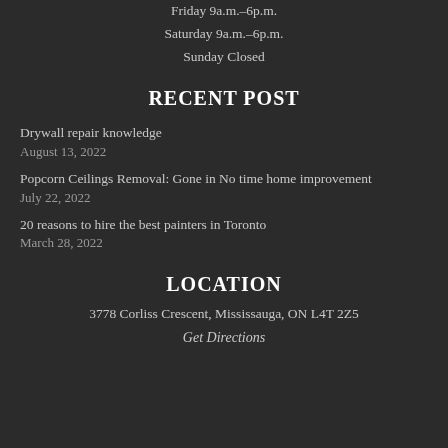Friday 9a.m.–6p.m.
Saturday 9a.m.–6p.m.
Sunday Closed
RECENT POST
Drywall repair knowledge
August 13, 2022
Popcorn Ceilings Removal: Gone in No time home improvement
July 22, 2022
20 reasons to hire the best painters in Toronto
March 28, 2022
LOCATION
3778 Corliss Crescent, Mississauga, ON L4T 2Z5
Get Directions